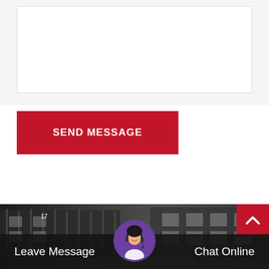[Figure (screenshot): White textarea input box for a contact form]
SEND MESSAGE
Latest News
[Figure (photo): Industrial building/factory interior dark image strip at bottom of page, with a chat support bar overlay showing Leave Message and Chat Online buttons, a headset-wearing support agent avatar in the center, and a red scroll-to-top button in the top right corner]